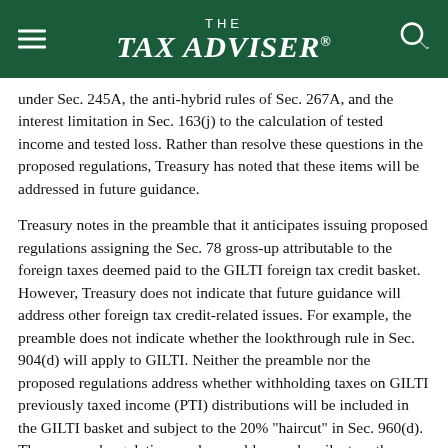THE TAX ADVISER
under Sec. 245A, the anti-hybrid rules of Sec. 267A, and the interest limitation in Sec. 163(j) to the calculation of tested income and tested loss. Rather than resolve these questions in the proposed regulations, Treasury has noted that these items will be addressed in future guidance.
Treasury notes in the preamble that it anticipates issuing proposed regulations assigning the Sec. 78 gross-up attributable to the foreign taxes deemed paid to the GILTI foreign tax credit basket. However, Treasury does not indicate that future guidance will address other foreign tax credit-related issues. For example, the preamble does not indicate whether the lookthrough rule in Sec. 904(d) will apply to GILTI. Neither the preamble nor the proposed regulations address whether withholding taxes on GILTI previously taxed income (PTI) distributions will be included in the GILTI basket and subject to the 20% "haircut" in Sec. 960(d). The proposed regulations and preamble are also silent on the treatment of taxes that are